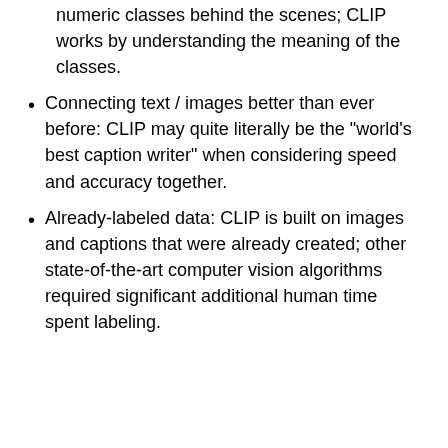numeric classes behind the scenes; CLIP works by understanding the meaning of the classes.
Connecting text / images better than ever before: CLIP may quite literally be the "world's best caption writer" when considering speed and accuracy together.
Already-labeled data: CLIP is built on images and captions that were already created; other state-of-the-art computer vision algorithms required significant additional human time spent labeling.